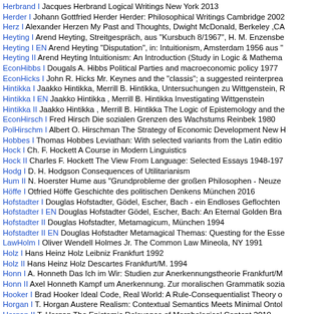Herbrand I Jacques Herbrand Logical Writings New York 2013
Herder I Johann Gottfried Herder Herder: Philosophical Writings Cambridge 2002
Herz I Alexander Herzen My Past and Thoughts, Dwight McDonald, Berkeley ,CA
Heyting I Arend Heyting, Streitgespräch, aus "Kursbuch 8/1967", H. M. Enzensbe
Heyting I EN Arend Heyting "Disputation", in: Intuitionism, Amsterdam 1956 aus "
Heyting II Arend Heyting Intuitionism: An Introduction (Study in Logic & Mathema
EconHibbs I Dougals A. Hibbs Political Parties and macroeconomic policy 1977
EconHicks I John R. Hicks Mr. Keynes and the "classis"; a suggested reinterprea
Hintikka I Jaakko Hintikka, Merrill B. Hintikka, Untersuchungen zu Wittgenstein, R
Hintikka I EN Jaakko Hintikka , Merrill B. Hintikka Investigating Wittgenstein
Hintikka II Jaakko Hintikka , Merrill B. Hintikka The Logic of Epistemology and the
EconHirsch I Fred Hirsch Die sozialen Grenzen des Wachstums Reinbek 1980
PolHirschm I Albert O. Hirschman The Strategy of Economic Development New H
Hobbes I Thomas Hobbes Leviathan: With selected variants from the Latin editio
Hock I Ch. F. Hockett A Course in Modern Linguistics
Hock II Charles F. Hockett The View From Language: Selected Essays 1948-197
Hodg I D. H. Hodgson Consequences of Utilitarianism
Hum II N. Hoerster Hume aus "Grundprobleme der großen Philosophen - Neuze
Höffe I Otfried Höffe Geschichte des politischen Denkens München 2016
Hofstadter I Douglas Hofstadter, Gödel, Escher, Bach - ein Endloses Geflochten
Hofstadter I EN Douglas Hofstadter Gödel, Escher, Bach: An Eternal Golden Bra
Hofstadter II Douglas Hofstadter, Metamagicum, München 1994
Hofstadter II EN Douglas Hofstadter Metamagical Themas: Questing for the Esse
LawHolm I Oliver Wendell Holmes Jr. The Common Law Mineola, NY 1991
Holz I Hans Heinz Holz Leibniz Frankfurt 1992
Holz II Hans Heinz Holz Descartes Frankfurt/M. 1994
Honn I A. Honneth Das Ich im Wir: Studien zur Anerkennungstheorie Frankfurt/M
Honn II Axel Honneth Kampf um Anerkennung. Zur moralischen Grammatik sozia
Hooker I Brad Hooker Ideal Code, Real World: A Rule-Consequentialist Theory o
Horgan I T. Horgan Austere Realism: Contextual Semantics Meets Minimal Ontol
Horgan II T. Horgan The Epistemic Relevance of Morphological Content 2010
Horwich I P. Horwich (Ed.) Theories of Truth Aldershot 1994